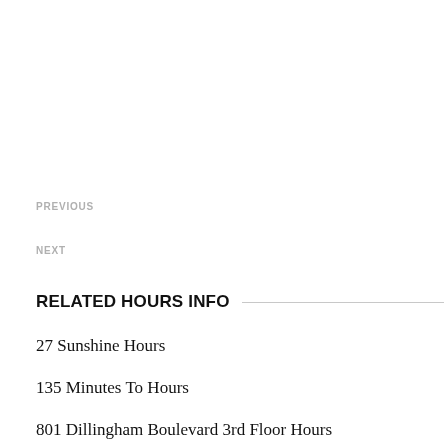PREVIOUS
NEXT
RELATED HOURS INFO
27 Sunshine Hours
135 Minutes To Hours
801 Dillingham Boulevard 3rd Floor Hours